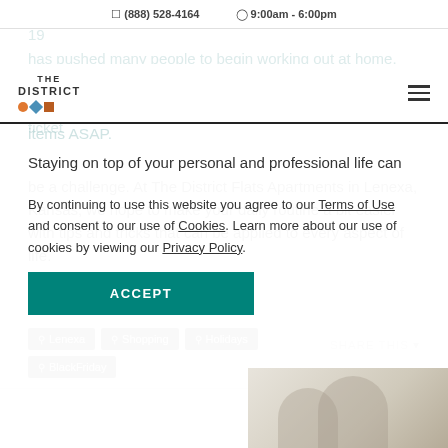(888) 528-4164  9:00am - 6:00pm
[Figure (logo): The District Flats logo with orange circle, blue diamond, brown square icons]
items ASAP.
Staying on top of your personal and professional life can be a challenge. At The District Flats Apartments in Lenexa, Kansas, we hope to make your daily routine a bit easier with tips and tricks that can be applied to every aspect of life.
Lenexa
Shopping
Holidays
BlackFriday
SHARE THIS
Latest Blogs
By continuing to use this website you agree to our Terms of Use and consent to our use of Cookies. Learn more about our use of cookies by viewing our Privacy Policy.
ACCEPT